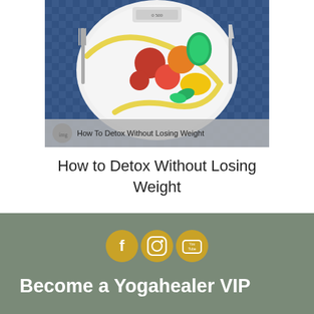[Figure (photo): A plate with fruits, vegetables, and a measuring tape arranged on a blue checkered tablecloth, with a food scale in the background and utensils on the side. An overlay bar at the bottom reads 'How To Detox Without Losing Weight'.]
How to Detox Without Losing Weight
[Figure (infographic): Three golden circular social media icon buttons: Facebook (f), Instagram (camera), and YouTube (play button with 'You Tube' text), displayed in a row on a sage green background.]
Become a Yogahealer VIP